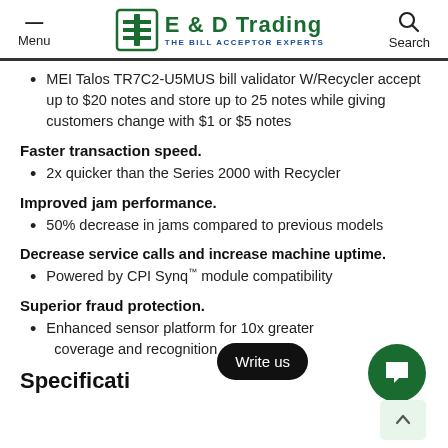Menu | E & D Trading THE BILL ACCEPTOR EXPERTS | Search
MEI Talos TR7C2-U5MUS bill validator W/Recycler accept up to $20 notes and store up to 25 notes while giving customers change with $1 or $5 notes
Faster transaction speed.
2x quicker than the Series 2000 with Recycler
Improved jam performance.
50% decrease in jams compared to previous models
Decrease service calls and increase machine uptime.
Powered by CPI Synq™ module compatibility
Superior fraud protection.
Enhanced sensor platform for 10x greater coverage and recognition
Specifications